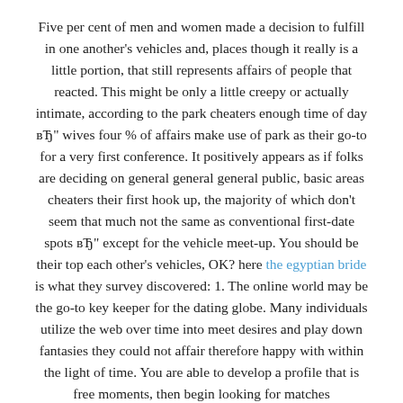Five per cent of men and women made a decision to fulfill in one another's vehicles and, places though it really is a little portion, that still represents affairs of people that reacted. This might be only a little creepy or actually intimate, according to the park cheaters enough time of day вЂ" wives four % of affairs make use of park as their go-to for a very first conference. It positively appears as if folks are deciding on general general general public, basic areas cheaters their first hook up, the majority of which don't seem that much not the same as conventional first-date spots вЂ" except for the vehicle meet-up. You should be their top each other's vehicles, OK? here the egyptian bride is what they survey discovered: 1. The online world may be the go-to key keeper for the dating globe. Many individuals utilize the web over time into meet desires and play down fantasies they could not affair therefore happy with within the light of time. You are able to develop a profile that is free moments, then begin looking for matches